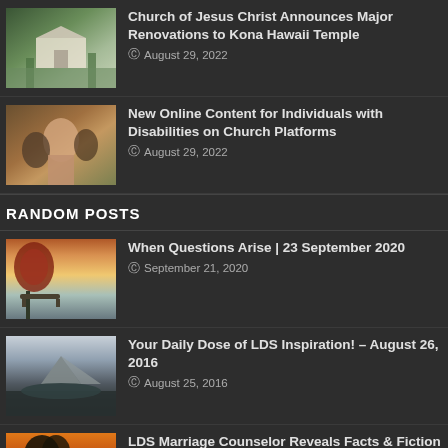[Figure (photo): Temple building with palm trees]
Church of Jesus Christ Announces Major Renovations to Kona Hawaii Temple
August 29, 2022
[Figure (photo): Group of people including a woman in pink]
New Online Content for Individuals with Disabilities on Church Platforms
August 29, 2022
RANDOM POSTS
[Figure (photo): Park bench under autumn tree with pink sky]
When Questions Arise | 23 September 2020
September 21, 2020
[Figure (photo): Mountain with forest and cloudy sky]
Your Daily Dose of LDS Inspiration! – August 26, 2016
August 25, 2016
[Figure (photo): Sunset through tree silhouette]
LDS Marriage Counselor Reveals Facts & Fiction About Love
June 22, 2017